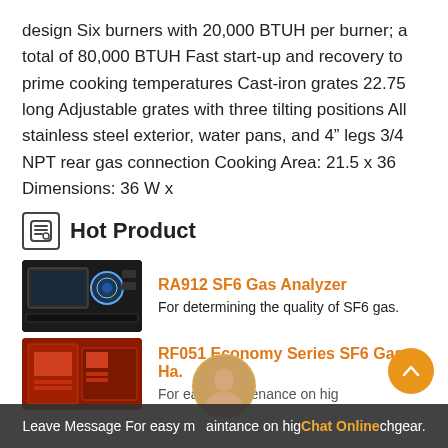design Six burners with 20,000 BTUH per burner; a total of 80,000 BTUH Fast start-up and recovery to prime cooking temperatures Cast-iron grates 22.75 long Adjustable grates with three tilting positions All stainless steel exterior, water pans, and 4" legs 3/4 NPT rear gas connection Cooking Area: 21.5 x 36 Dimensions: 36 W x
Hot Product
[Figure (photo): Photo of RA912 SF6 Gas Analyzer device, dark colored rack-mount unit]
RA912 SF6 Gas Analyzer
For determining the quality of SF6 gas.
[Figure (photo): Photo of RF051 Economy Series SF6 Gas Handling device, red colored portable unit]
RF051 Economy Series SF6 Gas Ha.
For easy maintenance on high voltage switchgear.
Leave Message  For easy maintenance on high voltage switchgear.  Chat Online